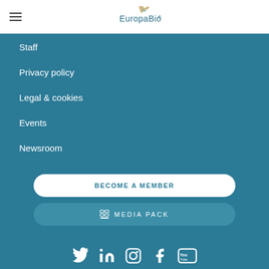EuropaBio
Staff
Privacy policy
Legal & cookies
Events
Newsroom
Become a member
Media pack
[Figure (other): Social media icons row: Twitter, LinkedIn, Instagram, Facebook, YouTube]